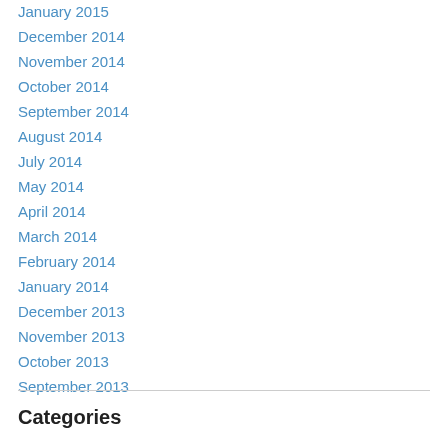January 2015
December 2014
November 2014
October 2014
September 2014
August 2014
July 2014
May 2014
April 2014
March 2014
February 2014
January 2014
December 2013
November 2013
October 2013
September 2013
Categories